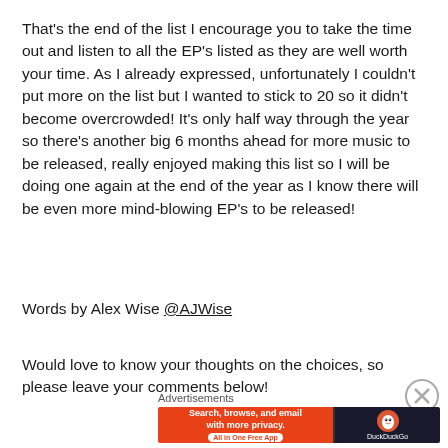That's the end of the list I encourage you to take the time out and listen to all the EP's listed as they are well worth your time. As I already expressed, unfortunately I couldn't put more on the list but I wanted to stick to 20 so it didn't become overcrowded! It's only half way through the year so there's another big 6 months ahead for more music to be released, really enjoyed making this list so I will be doing one again at the end of the year as I know there will be even more mind-blowing EP's to be released!
Words by Alex Wise @AJWise
Would love to know your thoughts on the choices, so please leave your comments below!
Advertisements
[Figure (other): DuckDuckGo advertisement banner with orange left section reading 'Search, browse, and email with more privacy. All in One Free App' and dark right section with DuckDuckGo logo and name.]